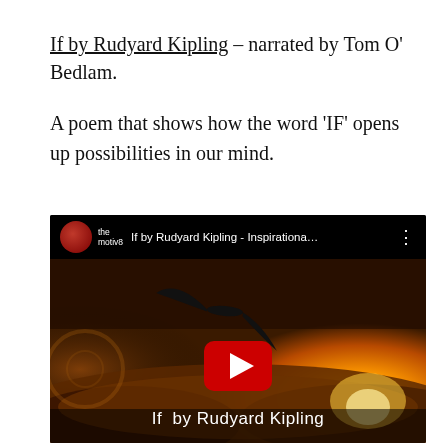If by Rudyard Kipling – narrated by Tom O' Bedlam.
A poem that shows how the word 'IF' opens up possibilities in our mind.
[Figure (screenshot): YouTube video thumbnail for 'If by Rudyard Kipling – Inspirationa…' by the motiv8 channel, showing a bird in silhouette flying over a dramatic orange sunset above clouds, with a red YouTube play button in the center and the text 'If by Rudyard Kipling' at the bottom.]